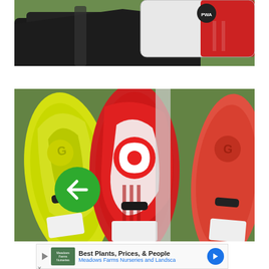[Figure (photo): Top-down view of a black bag/pack with a white and red PWA-branded item on grass]
[Figure (photo): Three colorful windsurfing boards lying on grass — yellow/white, red/white/gray patterned, and coral/red — with a green circular back-arrow UI overlay on the left board]
Best Plants, Prices, & People — Meadows Farms Nurseries and Landsca...